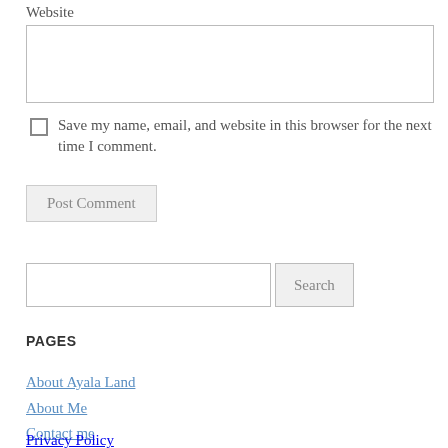Website
[Website input field]
Save my name, email, and website in this browser for the next time I comment.
Post Comment
[Search input field] Search
PAGES
About Ayala Land
About Me
Contact me
Privacy Policy